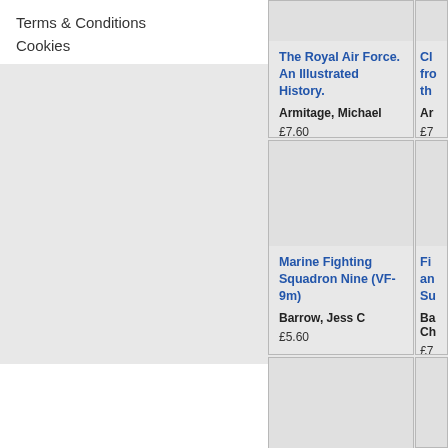Terms & Conditions
Cookies
The Royal Air Force. An Illustrated History.
Armitage, Michael
£7.60
Marine Fighting Squadron Nine (VF-9m)
Barrow, Jess C
£5.60